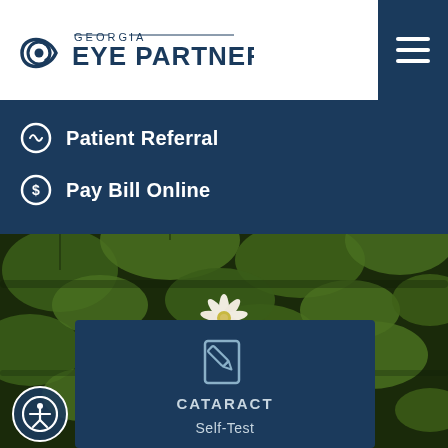[Figure (logo): Georgia Eye Partners logo with stylized eye graphic]
Patient Referral
Pay Bill Online
[Figure (photo): Lily pads and white water lily flowers floating on dark water]
[Figure (infographic): Cataract Self-Test card with pencil/document icon, teal-navy background, text: CATARACT Self-Test]
[Figure (illustration): Accessibility icon button - person with arms and legs outstretched inside circle]